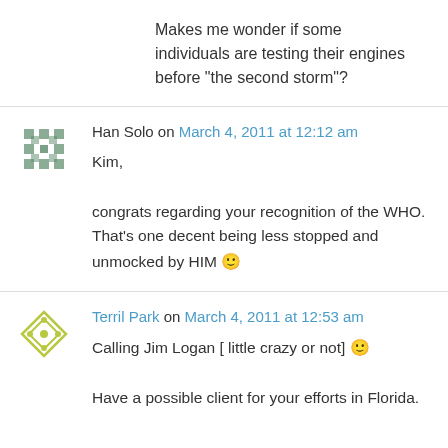Makes me wonder if some individuals are testing their engines before “the second storm”?
Han Solo on March 4, 2011 at 12:12 am

Kim,

congrats regarding your recognition of the WHO. That's one decent being less stopped and unmocked by HIM 🙂
Terril Park on March 4, 2011 at 12:53 am

Calling Jim Logan [ little crazy or not] 🙂

Have a possible client for your efforts in Florida.